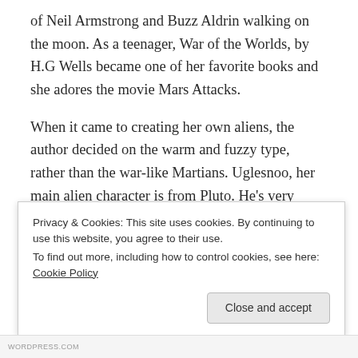of Neil Armstrong and Buzz Aldrin walking on the moon. As a teenager, War of the Worlds, by H.G Wells became one of her favorite books and she adores the movie Mars Attacks.
When it came to creating her own aliens, the author decided on the warm and fuzzy type, rather than the war-like Martians. Uglesnoo, her main alien character is from Pluto. He’s very friendly and nice but a little crazy too! This was the beginning of Amelia’s Amazing Space Adventures, starring Amelia and her alien friend Uglesnoo, from Pluto in a series of ten exciting space adventures for children, ages
Privacy & Cookies: This site uses cookies. By continuing to use this website, you agree to their use.
To find out more, including how to control cookies, see here: Cookie Policy
Close and accept